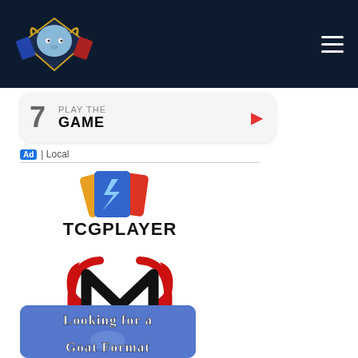[Figure (logo): Goat Format website navigation bar with blue ram mascot logo and hamburger menu icon on dark navy background]
[Figure (screenshot): App store listing card showing rank number 7 and text 'PLAY THE GAME' with red arrow]
Ad | Local
[Figure (logo): TCGPlayer logo with colorful trading cards and lightning bolt icon above bold TCGPLAYER text]
[Figure (logo): Meta Mats logo with red and black M emblem above bold META MATS text]
[Figure (illustration): Looking for a Goat Format banner with blue background and decorative text]